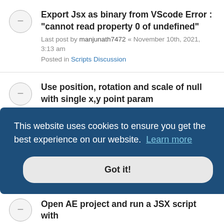Export Jsx as binary from VScode Error : "cannot read property 0 of undefined"
Last post by manjunath7472 « November 10th, 2021, 3:13 am
Posted in Scripts Discussion
Use position, rotation and scale of null with single x,y point param
Last post by zcream « October 30th, 2021, 5:51 am
Posted in Expression Discussion
change the weight and size of text using expression
Last post by rajat_saga « September 23rd, 2021,
This website uses cookies to ensure you get the best experience on our website. Learn more
Got it!
Open AE project and run a JSX script with